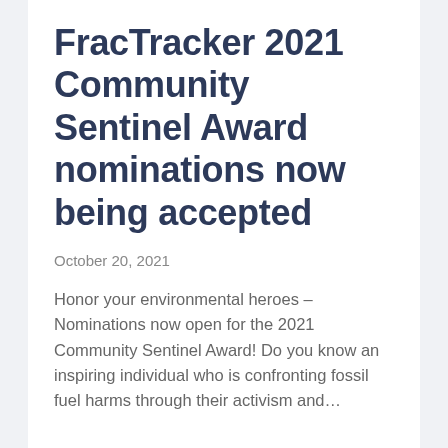FracTracker 2021 Community Sentinel Award nominations now being accepted
October 20, 2021
Honor your environmental heroes – Nominations now open for the 2021 Community Sentinel Award! Do you know an inspiring individual who is confronting fossil fuel harms through their activism and…